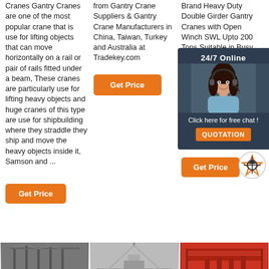Cranes Gantry Cranes are one of the most popular crane that is use for lifting objects that can move horizontally on a rail or pair of rails fitted under a beam, These cranes are particularly use for lifting heavy objects and huge cranes of this type are use for shipbuilding where they straddle they ship and move the heavy objects inside it, Samson and ...
Get Price
from Gantry Crane Suppliers & Gantry Crane Manufacturers in China, Taiwan, Turkey and Australia at Tradekey.com
Get Price
Brand Heavy Duty Double Girder Gantry Cranes with Open Winch SWL Upto 200 Tons Suitable in Busy And Heavy Conditions. Model SWL: 10 ton, 15 ton, 20 ton, 25 ton, 32 ton, 50 ton, 75 ton, 100 ton, 125 ton, 125/50ton, 200ton, Popular Span: 12m, 16m, 18m, 20m, 22m, 25m, 28m, 30m, 32m, ...
Get Price
[Figure (other): Chat widget overlay with woman avatar, '24/7 Online' text, 'Click here for free chat!' text, and orange QUOTATION button]
[Figure (photo): Three crane/industrial images at bottom of page]